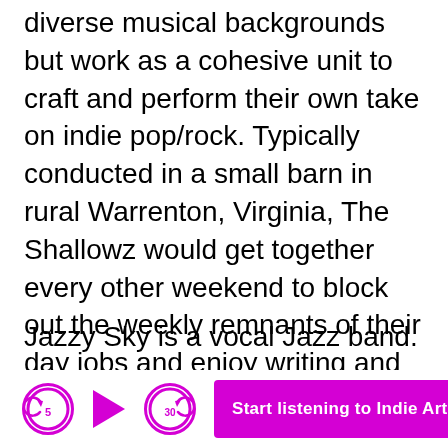diverse musical backgrounds but work as a cohesive unit to craft and perform their own take on indie pop/rock. Typically conducted in a small barn in rural Warrenton, Virginia, The Shallowz would get together every other weekend to block out the weekly remnants of their day jobs and enjoy writing and play music. This ritual has continued for over 20 years in various incarnations, but at present we call ourselves, The Shallowz.
Jazzy Sky is a vocal Jazz band.
[Figure (other): Audio player bar with skip-back 5s, play, skip-forward 30s controls and a magenta button labeled 'Start listening to Indie Artist A... 27:00']